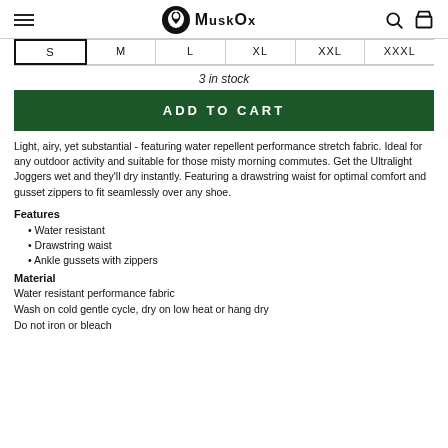MuskOx
| S | M | L | XL | XXL | XXXL |
| --- | --- | --- | --- | --- | --- |
3 in stock
ADD TO CART
Light, airy, yet substantial - featuring water repellent performance stretch fabric. Ideal for any outdoor activity and suitable for those misty morning commutes. Get the Ultralight Joggers wet and they'll dry instantly. Featuring a drawstring waist for optimal comfort and gusset zippers to fit seamlessly over any shoe.
Features
Water resistant
Drawstring waist
Ankle gussets with zippers
Material
Water resistant performance fabric
Wash on cold gentle cycle, dry on low heat or hang dry
Do not iron or bleach